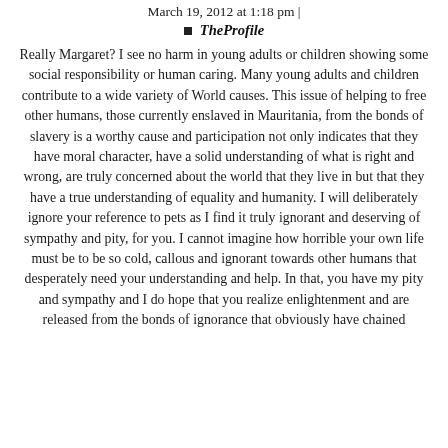March 19, 2012 at 1:18 pm |
TheProfile
Really Margaret? I see no harm in young adults or children showing some social responsibility or human caring. Many young adults and children contribute to a wide variety of World causes. This issue of helping to free other humans, those currently enslaved in Mauritania, from the bonds of slavery is a worthy cause and participation not only indicates that they have moral character, have a solid understanding of what is right and wrong, are truly concerned about the world that they live in but that they have a true understanding of equality and humanity. I will deliberately ignore your reference to pets as I find it truly ignorant and deserving of sympathy and pity, for you. I cannot imagine how horrible your own life must be to be so cold, callous and ignorant towards other humans that desperately need your understanding and help. In that, you have my pity and sympathy and I do hope that you realize enlightenment and are released from the bonds of ignorance that obviously have chained and bound you. You are free to yourself, though.